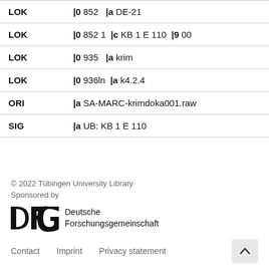| Field | Content |
| --- | --- |
| LOK | |0 852   |a DE-21 |
| LOK | |0 852 1  |c KB 1 E 110  |9 00 |
| LOK | |0 935   |a krim |
| LOK | |0 936ln  |a k4.2.4 |
| ORI | |a SA-MARC-krimdoka001.raw |
| SIG | |a UB: KB 1 E 110 |
© 2022 Tübingen University Library
Sponsored by
[Figure (logo): DFG (Deutsche Forschungsgemeinschaft) logo with bold DFG lettering and full name]
Contact   Imprint   Privacy statement